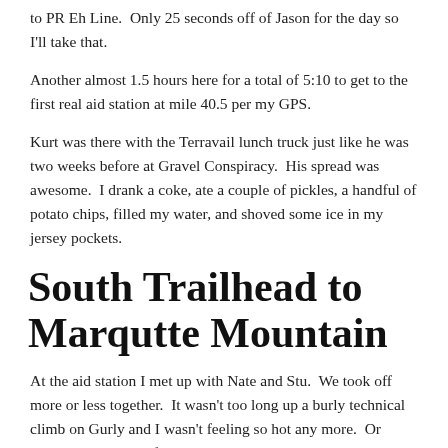to PR Eh Line.  Only 25 seconds off of Jason for the day so I'll take that.
Another almost 1.5 hours here for a total of 5:10 to get to the first real aid station at mile 40.5 per my GPS.
Kurt was there with the Terravail lunch truck just like he was two weeks before at Gravel Conspiracy.  His spread was awesome.  I drank a coke, ate a couple of pickles, a handful of potato chips, filled my water, and shoved some ice in my jersey pockets.
South Trailhead to Marqutte Mountain
At the aid station I met up with Nate and Stu.  We took off more or less together.  It wasn't too long up a burly technical climb on Gurly and I wasn't feeling so hot any more.  Or maybe it was I was feeling hot.  Stu and Nate